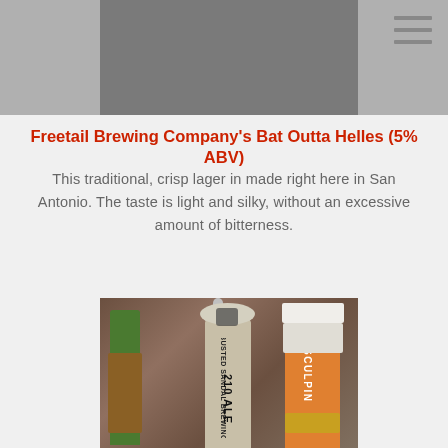[Figure (photo): Top portion of a webpage showing a partially visible photo with gray background, and a hamburger menu icon in the top right corner]
Freetail Brewing Company's Bat Outta Helles (5% ABV)
This traditional, crisp lager in made right here in San Antonio. The taste is light and silky, without an excessive amount of bitterness.
[Figure (photo): Photo of multiple beer tap handles at a bar, including Busted Sandal Brewing 210 Ale and Ballast Point Sculpin taps, with a wooden background]